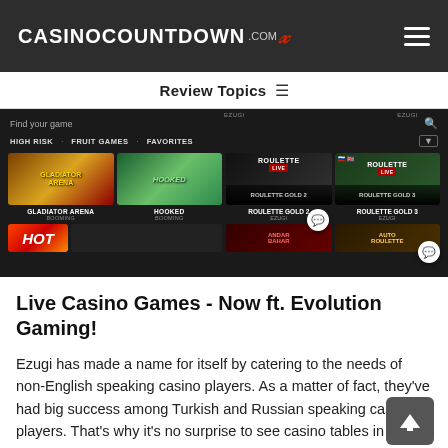CASINOCOUNTDOWN .COM [lightning icon]
Review Topics ≡
[Figure (screenshot): Screenshot of a casino game lobby showing game tiles including Gladiator Arena, Hooked (both by Booming), Roulette Gold 2, Roulette Gold 3 (by Ezugi), with live dealer thumbnails and chat bubble icons. A HOT banner is visible at bottom left.]
Live Casino Games - Now ft. Evolution Gaming!
Ezugi has made a name for itself by catering to the needs of non-English speaking casino players. As a matter of fact, they've had big success among Turkish and Russian speaking casino players. That's why it's no surprise to see casino tables in various language options...